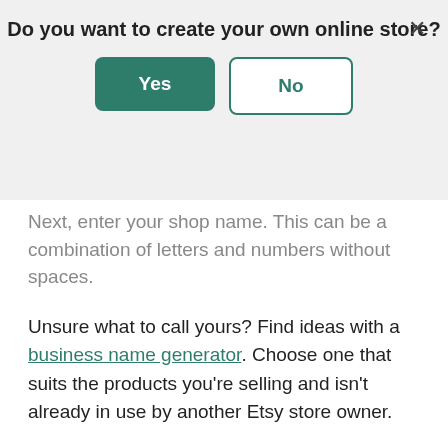[Figure (screenshot): Modal dialog with title 'Do you want to create your own online store?' and two buttons: a green 'Yes' button and a white/outlined 'No' button, with an X close button in the top right.]
Next, enter your shop name. This can be a combination of letters and numbers without spaces.
Unsure what to call yours? Find ideas with a business name generator. Choose one that suits the products you're selling and isn't already in use by another Etsy store owner.
4. Upload products
As soon as your new Etsy shop has a store